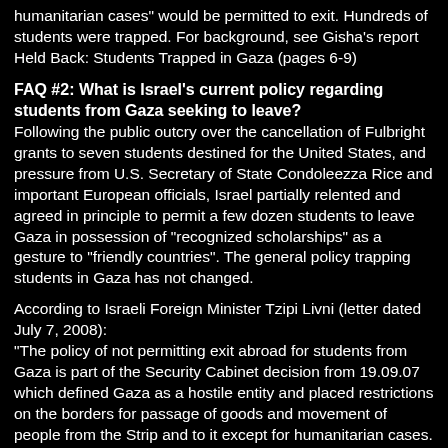humanitarian cases" would be permitted to exit. Hundreds of students were trapped. For background, see Gisha's report Held Back: Students Trapped in Gaza (pages 6-9)
FAQ #2: What is Israel's current policy regarding students from Gaza seeking to leave?
Following the public outcry over the cancellation of Fulbright grants to seven students destined for the United States, and pressure from U.S. Secretary of State Condoleezza Rice and important European officials, Israel partially relented and agreed in principle to permit a few dozen students to leave Gaza in possession of "recognized scholarships" as a gesture to "friendly countries". The general policy trapping students in Gaza has not changed.
According to Israeli Foreign Minister Tzipi Livni (letter dated July 7, 2008):
"The policy of not permitting exit abroad for students from Gaza is part of the Security Cabinet decision from 19.09.07 which defined Gaza as a hostile entity and placed restrictions on the borders for passage of goods and movement of people from the Strip and to it except for humanitarian cases.
As of today, there is no change in this policy. At the same time, after consideration of particular cases, a few